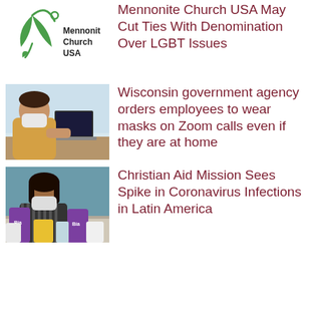[Figure (logo): Mennonite Church USA logo with green leaf/person symbol and bold text 'Mennonite Church USA']
Mennonite Church USA May Cut Ties With Denomination Over LGBT Issues
[Figure (photo): Woman wearing a yellow shirt and face mask, working on a laptop at a desk, photographed from the side]
Wisconsin government agency orders employees to wear masks on Zoom calls even if they are at home
[Figure (photo): Woman wearing a striped shirt and face mask, sitting behind a table with grocery bags and supplies including purple and white packages]
Christian Aid Mission Sees Spike in Coronavirus Infections in Latin America